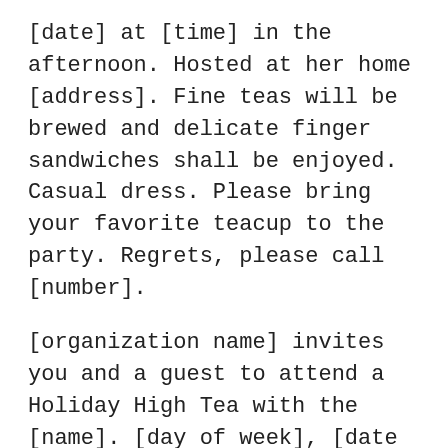[date] at [time] in the afternoon. Hosted at her home [address]. Fine teas will be brewed and delicate finger sandwiches shall be enjoyed. Casual dress. Please bring your favorite teacup to the party. Regrets, please call [number].
[organization name] invites you and a guest to attend a Holiday High Tea with the [name]. [day of week], [date and time]. Hickory Dickory Dock, put on a frilly frock. We will have cookies and tea for its six she will be... Join us for [name] 6th Birthday Tea. [day of week], [date, time, address]. Can't have a cup of tea? Call [number].
It's a Tea Party. [name] is turning four, and